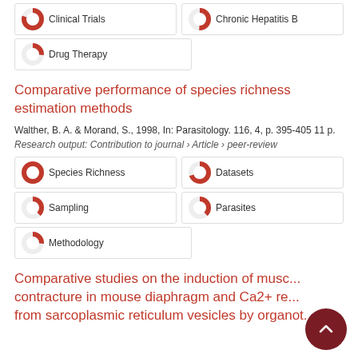Clinical Trials
Chronic Hepatitis B
Drug Therapy
Comparative performance of species richness estimation methods
Walther, B. A. & Morand, S., 1998, In: Parasitology. 116, 4, p. 395-405 11 p.
Research output: Contribution to journal › Article › peer-review
Species Richness
Datasets
Sampling
Parasites
Methodology
Comparative studies on the induction of muscle contracture in mouse diaphragm and Ca2+ release from sarcoplasmic reticulum vesicles by organotin compounds